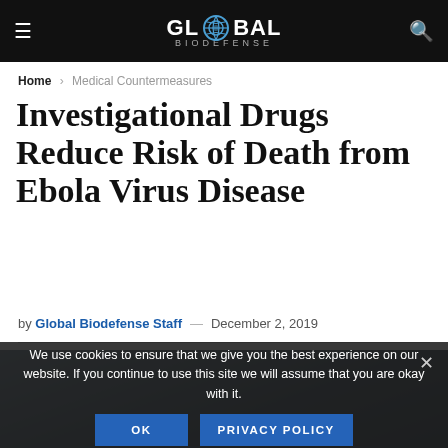GLOBAL BIODEFENSE
Home › Medical Countermeasures
Investigational Drugs Reduce Risk of Death from Ebola Virus Disease
by Global Biodefense Staff — December 2, 2019
[Figure (photo): Partial view of an image at the bottom of the page, partially obscured by cookie consent overlay]
We use cookies to ensure that we give you the best experience on our website. If you continue to use this site we will assume that you are okay with it. OK  PRIVACY POLICY